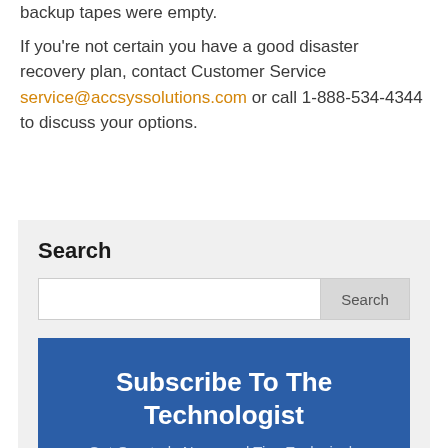backup tapes were empty.
If you're not certain you have a good disaster recovery plan, contact Customer Service service@accsyssolutions.com or call 1-888-534-4344 to discuss your options.
Search
[Figure (screenshot): Search widget with text input box and Search button on a light grey background]
[Figure (infographic): Blue subscription box with title 'Subscribe To The Technologist' and subtitle 'Get Quarterly News and Tips Exclusively']